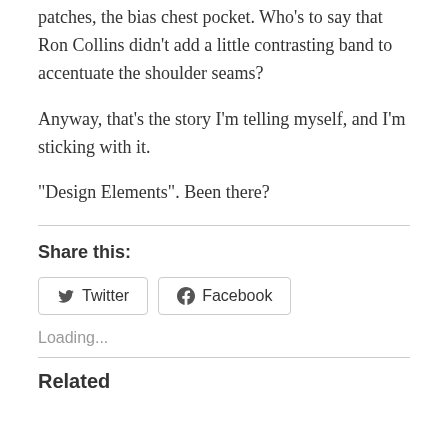patches, the bias chest pocket. Who’s to say that Ron Collins didn’t add a little contrasting band to accentuate the shoulder seams?
Anyway, that’s the story I’m telling myself, and I’m sticking with it.
“Design Elements”. Been there?
Share this:
Twitter   Facebook
Loading...
Related